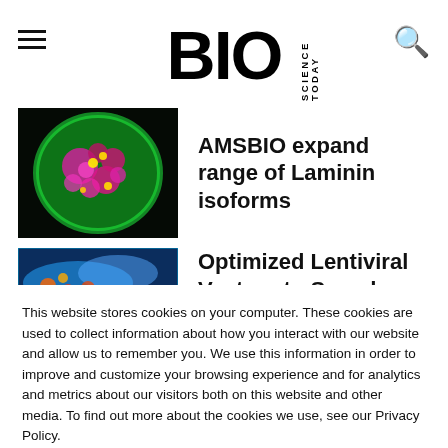BIO SCIENCE TODAY
AMSBIO expand range of Laminin isoforms
[Figure (photo): Fluorescent microscopy image of a cell cluster with green, pink, and yellow fluorescent markers on dark background]
Optimized Lentiviral Vectors to Speed
[Figure (photo): Close-up microscopy image with blue and colorful biological structures]
This website stores cookies on your computer. These cookies are used to collect information about how you interact with our website and allow us to remember you. We use this information in order to improve and customize your browsing experience and for analytics and metrics about our visitors both on this website and other media. To find out more about the cookies we use, see our Privacy Policy.
If you decline, your information won't be tracked when you visit this website. A single cookie will be used in your browser to remember your preference not to be tracked.